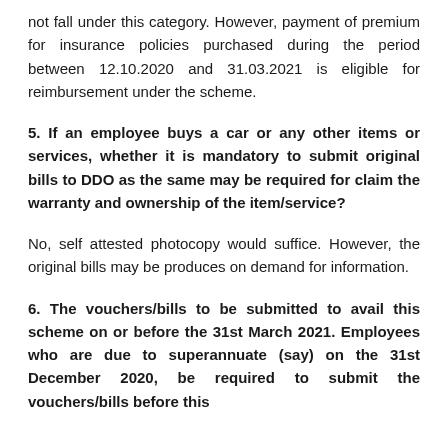not fall under this category. However, payment of premium for insurance policies purchased during the period between 12.10.2020 and 31.03.2021 is eligible for reimbursement under the scheme.
5. If an employee buys a car or any other items or services, whether it is mandatory to submit original bills to DDO as the same may be required for claim the warranty and ownership of the item/service?
No, self attested photocopy would suffice. However, the original bills may be produces on demand for information.
6. The vouchers/bills to be submitted to avail this scheme on or before the 31st March 2021. Employees who are due to superannuate (say) on the 31st December 2020, be required to submit the vouchers/bills before this